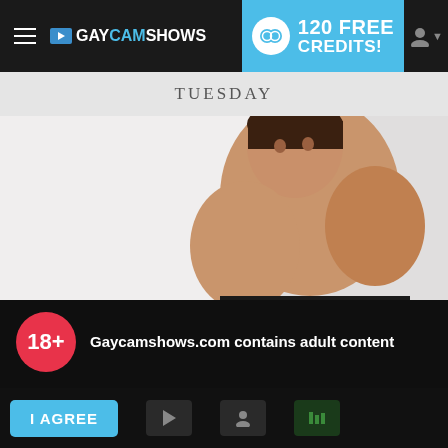≡ ▶ GAYCAMSHOWS | 120 FREE CREDITS!
TUESDAY
[Figure (photo): Shirtless young man posing against white background]
18+ Gaycamshows.com contains adult content
By using the site, you acknowledge you have read our Privacy Policy, and agree to our Terms and Conditions.
We use cookies to optimize your experience, analyze traffic, and deliver more personalized service. To learn more, please see our Privacy Policy.
I AGREE